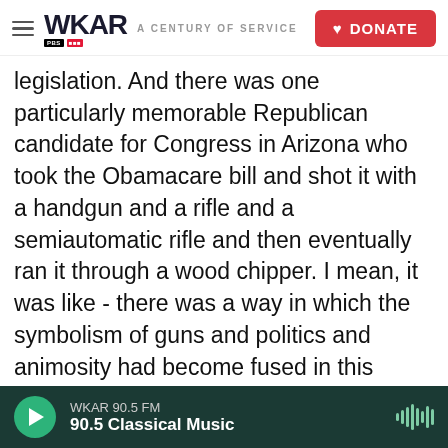WKAR A CENTURY OF SERVICE | DONATE
legislation. And there was one particularly memorable Republican candidate for Congress in Arizona who took the Obamacare bill and shot it with a handgun and a rifle and a semiautomatic rifle and then eventually ran it through a wood chipper. I mean, it was like - there was a way in which the symbolism of guns and politics and animosity had become fused in this particularly bizarre expression of American politics. And I - you know, this is the kind of thing that, coming back from abroad, I sort of looked at and had to do a double take and say, really? How did we start doing this? When did this happen?
WKAR 90.5 FM | 90.5 Classical Music